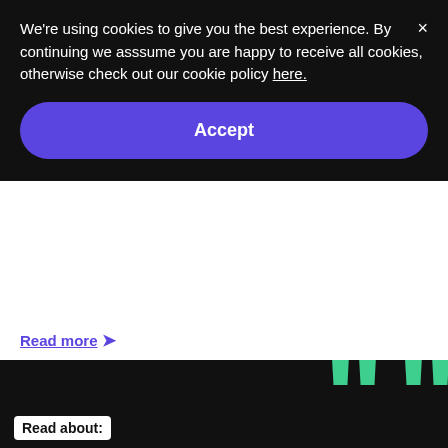We're using cookies to give you the best experience. By continuing we asssume you are happy to receive all cookies, otherwise check out our cookie policy here.
Accept
Read more →
[Figure (illustration): Black background with large green quotation marks on the right side, and a 'Read about:' label in a white badge at the bottom left.]